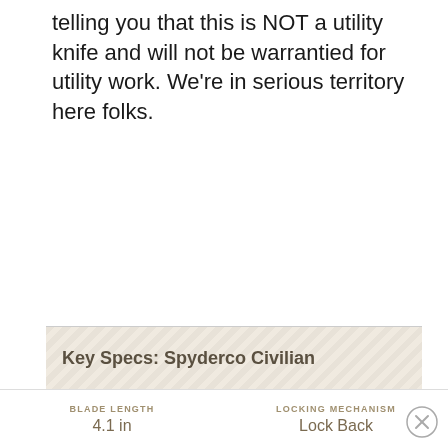telling you that this is NOT a utility knife and will not be warrantied for utility work. We're in serious territory here folks.
Key Specs: Spyderco Civilian
| BLADE LENGTH | LOCKING MECHANISM |
| --- | --- |
| 4.1 in | Lock Back |